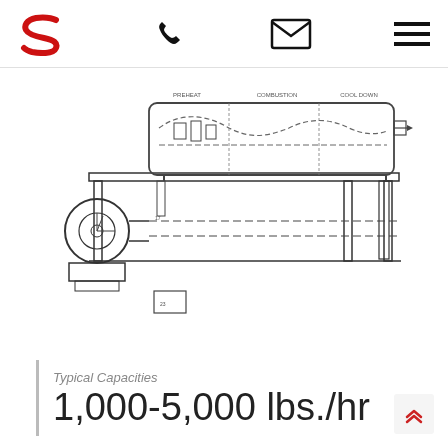S [logo] [phone icon] [email icon] [menu icon]
[Figure (engineering-diagram): Technical cross-section schematic of an industrial conveyor dryer/oven machine. Shows a horizontal drum/tube assembly mounted on a frame with legs, a blower fan on the left side, internal flow sections labeled PREHEAT, COMBUSTION, COOL DOWN, and dashed flow path lines inside the machine. A small box component is shown at bottom center-left.]
Typical Capacities
1,000-5,000 lbs./hr